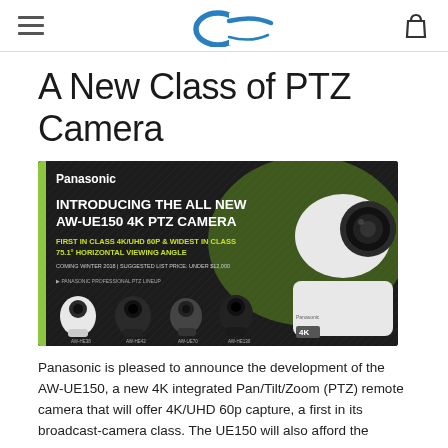[hamburger menu] [Encompass logo] [cart icon]
A New Class of PTZ Camera
[Figure (photo): Panasonic AW-UE150 4K PTZ Camera advertisement banner. Dark background with green accent. Text reads: INTRODUCING THE ALL NEW AW-UE150 4K PTZ CAMERA. FIRST IN CLASS 4K/UHD 60P & WIDEST IN CLASS 75.1° HORIZONTAL VIEWING ANGLE. COMING WINTER 2018 | SUGGESTED LIST PRICE: UNDER $12,000. Shows the large white AW-UE150 camera on the right and four smaller PTZ cameras lined up at the bottom (AW-HE38, AW-HE42, AW-UE70, AW-HE130). Panasonic branding top left. 4K badge bottom right.]
Panasonic is pleased to announce the development of the AW-UE150, a new 4K integrated Pan/Tilt/Zoom (PTZ) remote camera that will offer 4K/UHD 60p capture, a first in its broadcast-camera class. The UE150 will also afford the